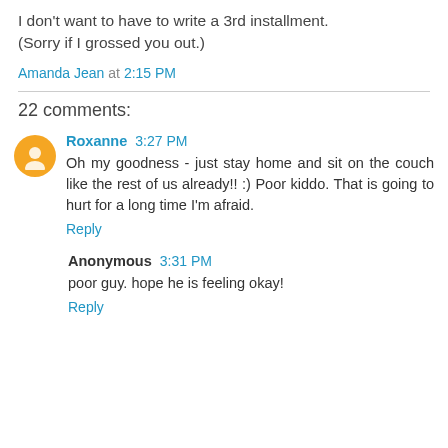I don't want to have to write a 3rd installment. (Sorry if I grossed you out.)
Amanda Jean at 2:15 PM
22 comments:
Roxanne 3:27 PM
Oh my goodness - just stay home and sit on the couch like the rest of us already!! :) Poor kiddo. That is going to hurt for a long time I'm afraid.
Reply
Anonymous 3:31 PM
poor guy. hope he is feeling okay!
Reply